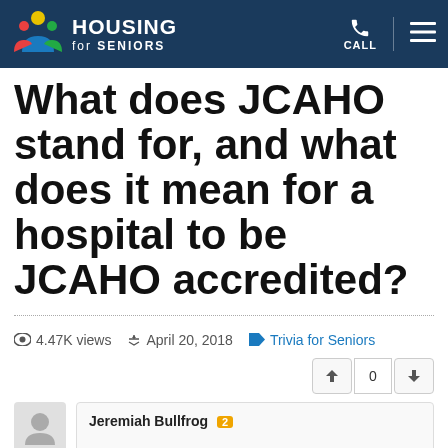Housing for Seniors — CALL | menu
What does JCAHO stand for, and what does it mean for a hospital to be JCAHO accredited?
4.47K views   April 20, 2018   Trivia for Seniors
0
Jeremiah Bullfrog 2